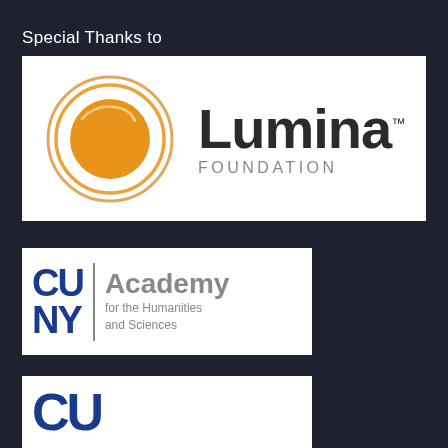Special Thanks to
[Figure (logo): Lumina Foundation logo: orange circle with swirl lines on left, 'Lumina' in large bold dark text with trademark symbol, 'FOUNDATION' in gray spaced caps below, on white background]
[Figure (logo): CUNY Academy for the Humanities and Sciences logo: 'CU' and 'NY' stacked in bold blue, vertical gray divider, 'Academy' in large gray text with 'for the Humanities and Sciences' below, on white background]
[Figure (logo): Partial logo showing 'CU' in large bold blue letters on white background, partially cut off]